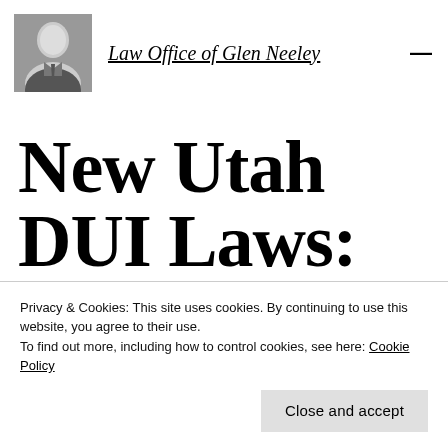Law Office of Glen Neeley
New Utah DUI Laws: Longer Driver's License
Privacy & Cookies: This site uses cookies. By continuing to use this website, you agree to their use.
To find out more, including how to control cookies, see here: Cookie Policy
Close and accept